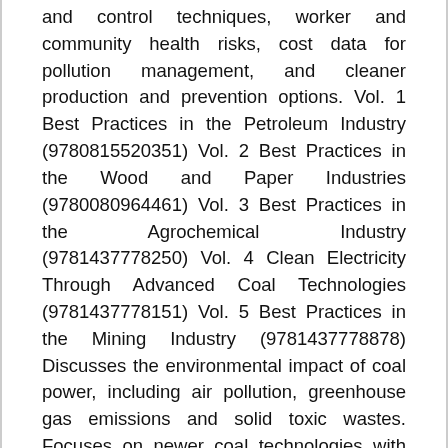and control techniques, worker and community health risks, cost data for pollution management, and cleaner production and prevention options. Vol. 1 Best Practices in the Petroleum Industry (9780815520351) Vol. 2 Best Practices in the Wood and Paper Industries (9780080964461) Vol. 3 Best Practices in the Agrochemical Industry (9781437778250) Vol. 4 Clean Electricity Through Advanced Coal Technologies (9781437778151) Vol. 5 Best Practices in the Mining Industry (9781437778878) Discusses the environmental impact of coal power, including air pollution, greenhouse gas emissions and solid toxic wastes. Focuses on newer coal technologies with smaller environmental footprints than existing infrastructure. Provides an overview of carbon capture and sequestration technologies.